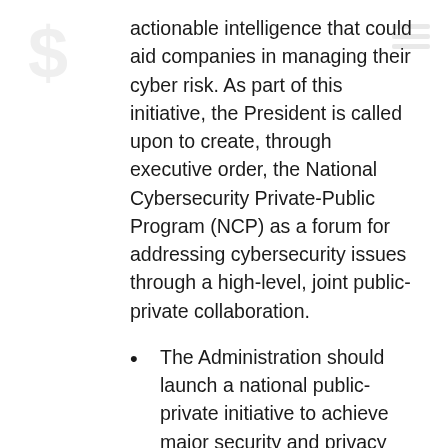actionable intelligence that could aid companies in managing their cyber risk. As part of this initiative, the President is called upon to create, through executive order, the National Cybersecurity Private-Public Program (NCP) as a forum for addressing cybersecurity issues through a high-level, joint public-private collaboration.
The Administration should launch a national public-private initiative to achieve major security and privacy improvements by increasing the use of strong authentication to improve identity management. Identity, especially the use of passwords, has been the primary vector for cyber breaches. The shared goal of both the public and private sectors